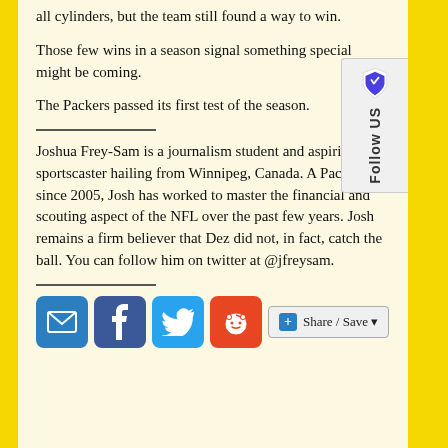all cylinders, but the team still found a way to win.
Those few wins in a season signal something special might be coming.
The Packers passed its first test of the season.
Joshua Frey-Sam is a journalism student and aspiring sportscaster hailing from Winnipeg, Canada. A Packers fan since 2005, Josh has worked to master the financial and scouting aspect of the NFL over the past few years. Josh remains a firm believer that Dez did not, in fact, catch the ball. You can follow him on twitter at @jfreysam.
[Figure (other): Social share buttons: email, Facebook, Twitter, Reddit, and Share/Save button]